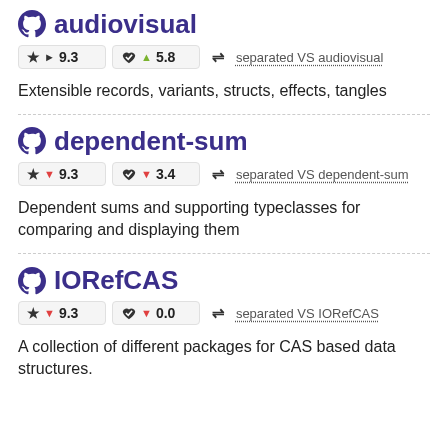audiovisual
★ ▶ 9.3   ♥ ▲ 5.8   ⇌ separated VS audiovisual
Extensible records, variants, structs, effects, tangles
dependent-sum
★ ▼ 9.3   ♥ ▼ 3.4   ⇌ separated VS dependent-sum
Dependent sums and supporting typeclasses for comparing and displaying them
IORefCAS
★ ▼ 9.3   ♥ ▼ 0.0   ⇌ separated VS IORefCAS
A collection of different packages for CAS based data structures.